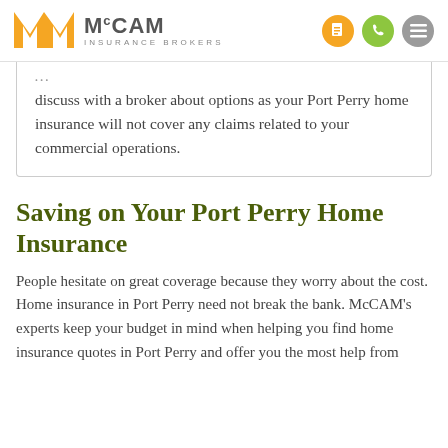[Figure (logo): McCAM Insurance Brokers logo with orange M icon and navigation icons]
discuss with a broker about options as your Port Perry home insurance will not cover any claims related to your commercial operations.
Saving on Your Port Perry Home Insurance
People hesitate on great coverage because they worry about the cost. Home insurance in Port Perry need not break the bank. McCAM's experts keep your budget in mind when helping you find home insurance quotes in Port Perry and offer you the most help from...